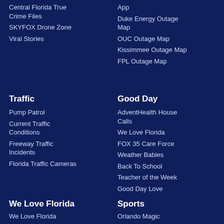Central Florida True Crime Files
SKYFOX Drone Zone
Viral Stories
App
Duke Energy Outage Map
OUC Outage Map
Kissimmee Outage Map
FPL Outage Map
Traffic
Pump Patrol
Current Traffic Conditions
Freeway Traffic Incidents
Florida Traffic Cameras
Good Day
AdventHealth House Calls
We Love Florida
FOX 35 Care Force
Weather Babies
Back To School
Teacher of the Week
Good Day Love
We Love Florida
We Love Florida
Sports
Orlando Magic